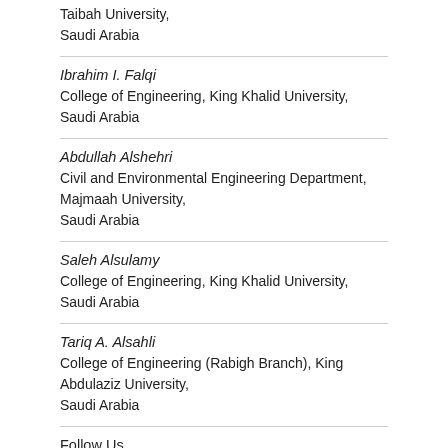Taibah University,
Saudi Arabia
Ibrahim I. Falqi
College of Engineering, King Khalid University,
Saudi Arabia
Abdullah Alshehri
Civil and Environmental Engineering Department,
Majmaah University,
Saudi Arabia
Saleh Alsulamy
College of Engineering, King Khalid University,
Saudi Arabia
Tariq A. Alsahli
College of Engineering (Rabigh Branch), King Abdulaziz University,
Saudi Arabia
Follow Us